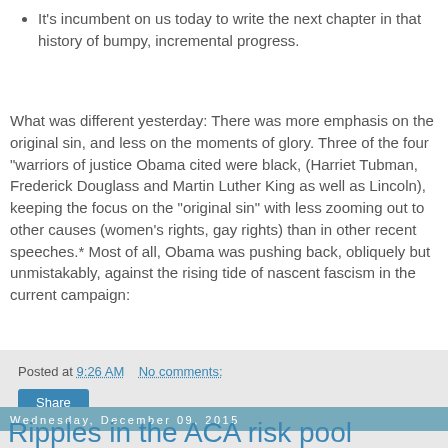It’s incumbent on us today to write the next chapter in that history of bumpy, incremental progress.
What was different yesterday: There was more emphasis on the original sin, and less on the moments of glory. Three of the four "warriors of justice Obama cited were black, (Harriet Tubman, Frederick Douglass and Martin Luther King as well as Lincoln), keeping the focus on the "original sin" with less zooming out to other causes (women’s rights, gay rights) than in other recent speeches.* Most of all, Obama was pushing back, obliquely but unmistakably, against the rising tide of nascent fascism in the current campaign:
Posted at 9:26 AM   No comments:   Share
Wednesday, December 09, 2015
Ripples in the ACA risk pool